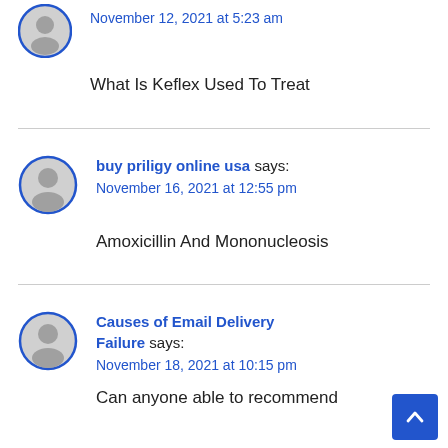November 12, 2021 at 5:23 am
What Is Keflex Used To Treat
buy priligy online usa says:
November 16, 2021 at 12:55 pm
Amoxicillin And Mononucleosis
Causes of Email Delivery Failure says:
November 18, 2021 at 10:15 pm
Can anyone able to recommend